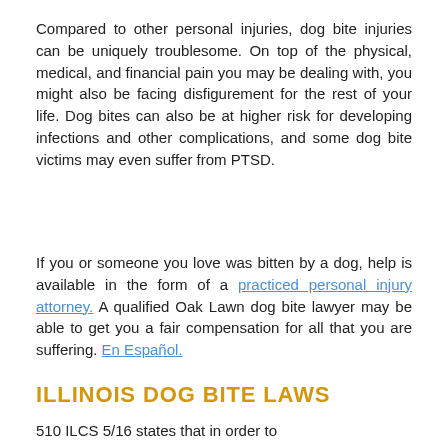Compared to other personal injuries, dog bite injuries can be uniquely troublesome. On top of the physical, medical, and financial pain you may be dealing with, you might also be facing disfigurement for the rest of your life. Dog bites can also be at higher risk for developing infections and other complications, and some dog bite victims may even suffer from PTSD.
If you or someone you love was bitten by a dog, help is available in the form of a practiced personal injury attorney. A qualified Oak Lawn dog bite lawyer may be able to get you a fair compensation for all that you are suffering. En Español.
ILLINOIS DOG BITE LAWS
510 ILCS 5/16 states that in order to